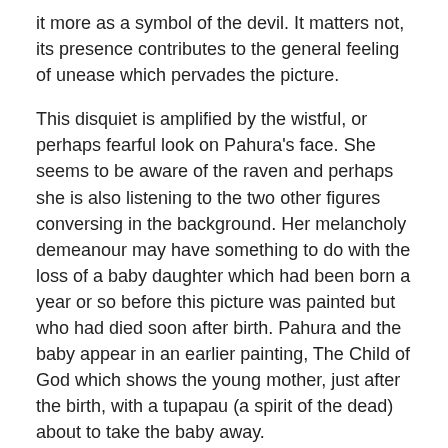it more as a symbol of the devil. It matters not, its presence contributes to the general feeling of unease which pervades the picture.
This disquiet is amplified by the wistful, or perhaps fearful look on Pahura's face. She seems to be aware of the raven and perhaps she is also listening to the two other figures conversing in the background. Her melancholy demeanour may have something to do with the loss of a baby daughter which had been born a year or so before this picture was painted but who had died soon after birth. Pahura and the baby appear in an earlier painting, The Child of God which shows the young mother, just after the birth, with a tupapau (a spirit of the dead) about to take the baby away.
Image: Wikimedia Commons
Contemporary Works